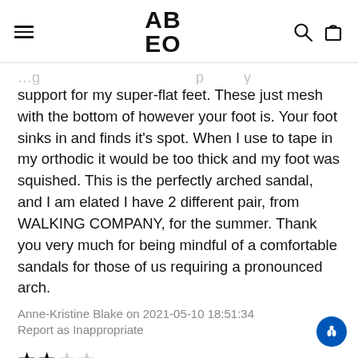ABEO
support for my super-flat feet. These just mesh with the bottom of however your foot is. Your foot sinks in and finds it's spot. When I use to tape in my orthodic it would be too thick and my foot was squished. This is the perfectly arched sandal, and I am elated I have 2 different pair, from WALKING COMPANY, for the summer. Thank you very much for being mindful of a comfortable sandals for those of us requiring a pronounced arch.
Anne-Kristine Blake on 2021-05-10 18:51:34
Report as Inappropriate
★★☆☆☆
COMFORTABLE SHOE BUT COLOR OFF